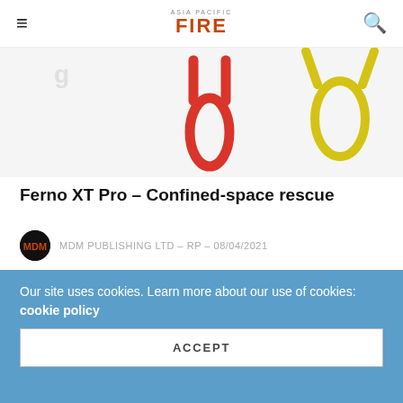ASIA PACIFIC FIRE
[Figure (photo): Partial image of rescue equipment: red loop and yellow loop visible on white background]
Ferno XT Pro – Confined-space rescue
MDM PUBLISHING LTD – RP – 08/04/2021
Industrial environments differ from other types of environments where rescue operations need to be carried...
[Figure (photo): Partial photo of industrial equipment and person, bottom of page]
Our site uses cookies. Learn more about our use of cookies: cookie policy
ACCEPT